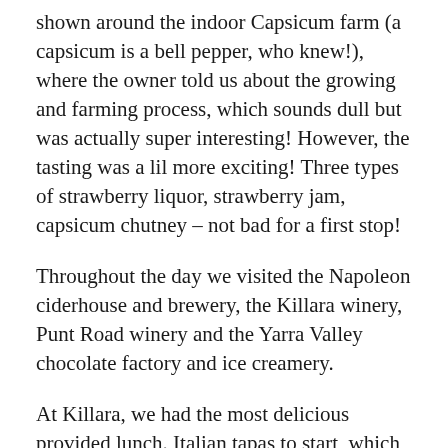shown around the indoor Capsicum farm (a capsicum is a bell pepper, who knew!), where the owner told us about the growing and farming process, which sounds dull but was actually super interesting! However, the tasting was a lil more exciting! Three types of strawberry liquor, strawberry jam, capsicum chutney – not bad for a first stop!
Throughout the day we visited the Napoleon ciderhouse and brewery, the Killara winery, Punt Road winery and the Yarra Valley chocolate factory and ice creamery.
At Killara, we had the most delicious provided lunch. Italian tapas to start, which honestly could've filled me up by itself! Followed by a choice of Pizza, Pumpkin Salad, Gnocci or Tortoloni for mains. I went for the Gnocci but did a classic switcheroo with one of the people in a little group of 5 of us who were the same